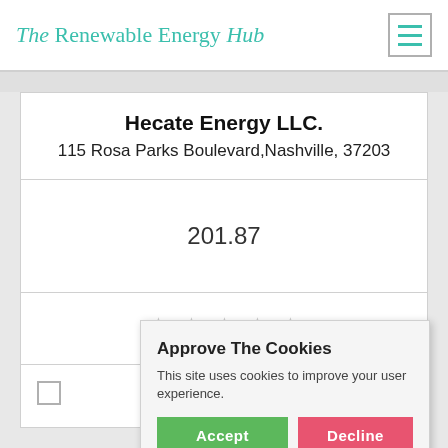The Renewable Energy Hub
Hecate Energy LLC.
115 Rosa Parks Boulevard,Nashville, 37203
201.87
[Figure (other): Five empty star rating icons in light grey]
Approve The Cookies
This site uses cookies to improve your user experience.
Accept | Decline
Cookie policy